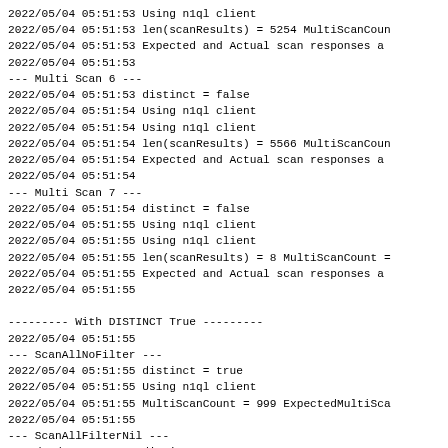2022/05/04 05:51:53 Using n1ql client
2022/05/04 05:51:53 len(scanResults) = 5254 MultiScanCoun
2022/05/04 05:51:53 Expected and Actual scan responses a
2022/05/04 05:51:53
--- Multi Scan 6 ---
2022/05/04 05:51:53 distinct = false
2022/05/04 05:51:54 Using n1ql client
2022/05/04 05:51:54 Using n1ql client
2022/05/04 05:51:54 len(scanResults) = 5566 MultiScanCoun
2022/05/04 05:51:54 Expected and Actual scan responses a
2022/05/04 05:51:54
--- Multi Scan 7 ---
2022/05/04 05:51:54 distinct = false
2022/05/04 05:51:55 Using n1ql client
2022/05/04 05:51:55 Using n1ql client
2022/05/04 05:51:55 len(scanResults) = 8 MultiScanCount =
2022/05/04 05:51:55 Expected and Actual scan responses a
2022/05/04 05:51:55

--------- With DISTINCT True ---------
2022/05/04 05:51:55
--- ScanAllNoFilter ---
2022/05/04 05:51:55 distinct = true
2022/05/04 05:51:55 Using n1ql client
2022/05/04 05:51:55 MultiScanCount = 999 ExpectedMultiSca
2022/05/04 05:51:55
--- ScanAllFilterNil ---
2022/05/04 05:51:55 distinct = true
2022/05/04 05:51:56 Using n1ql client
2022/05/04 05:51:56 MultiScanCount = 999 ExpectedMultiSca